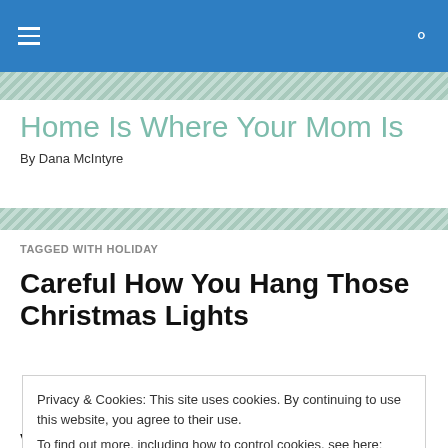Home Is Where Your Mom Is — By Dana McIntyre
TAGGED WITH HOLIDAY
Careful How You Hang Those Christmas Lights
Privacy & Cookies: This site uses cookies. By continuing to use this website, you agree to their use.
To find out more, including how to control cookies, see here: Cookie Policy
Close and accept
year round